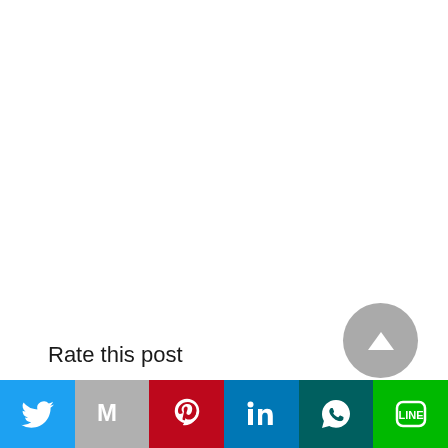Rate this post
[Figure (infographic): Gray circular back-to-top button with white upward triangle arrow]
[Figure (infographic): Social media sharing bar with six buttons: Twitter (blue, bird icon), Gmail (gray, M icon), Pinterest (red, P icon), LinkedIn (blue, in icon), WhatsApp (dark teal, phone icon), LINE (green, speech bubble icon)]